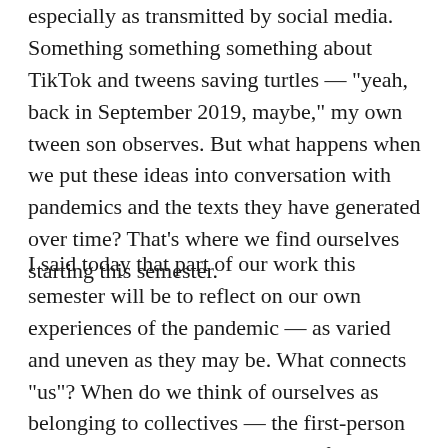especially as transmitted by social media. Something something something about TikTok and tweens saving turtles — "yeah, back in September 2019, maybe," my own tween son observes. But what happens when we put these ideas into conversation with pandemics and the texts they have generated over time? That's where we find ourselves starting this semester.
I said today that part of our work this semester will be to reflect on our own experiences of the pandemic — as varied and uneven as they may be. What connects "us"? When do we think of ourselves as belonging to collectives — the first-person plural — and when do we think of ourselves as individuals? Many of the connections you identified in your icebreaker introductions come back to the major questions this class centers on or circles back to again and again. Like